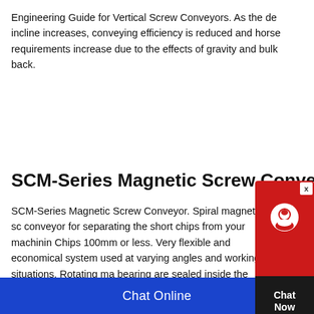Engineering Guide for Vertical Screw Conveyors. As the de incline increases, conveying efficiency is reduced and horse requirements increase due to the effects of gravity and bulk back.
[Figure (screenshot): Chat widget with red background showing a chat support icon and 'Chat Now' text on a dark pentagon shape, with a close (x) button in top right corner.]
SCM-Series Magnetic Screw Conveyor
SCM-Series Magnetic Screw Conveyor. Spiral magnetic sc conveyor for separating the short chips from your machinin Chips 100mm or less. Very flexible and economical system used at varying angles and working situations. Rotating ma bearing are sealed inside the stainless steel pipe. The cutti
Chat Online